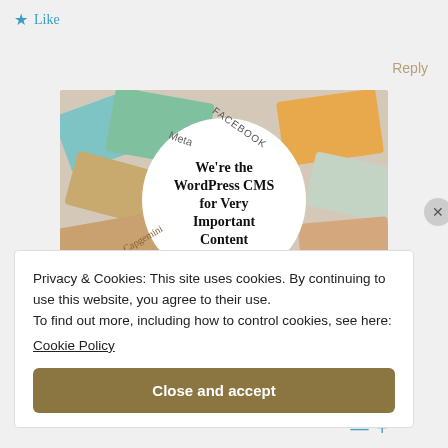★ Like
Reply
[Figure (photo): WordPress CMS promotional image showing various brand cards (Meta, Facebook, Capgemini, others) around a white circle with text 'We're the WordPress CMS for Very Important Content']
Privacy & Cookies: This site uses cookies. By continuing to use this website, you agree to their use.
To find out more, including how to control cookies, see here:
Cookie Policy
Close and accept